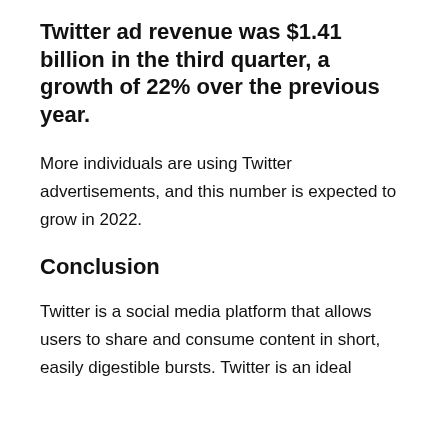Twitter ad revenue was $1.41 billion in the third quarter, a growth of 22% over the previous year.
More individuals are using Twitter advertisements, and this number is expected to grow in 2022.
Conclusion
Twitter is a social media platform that allows users to share and consume content in short, easily digestible bursts. Twitter is an ideal